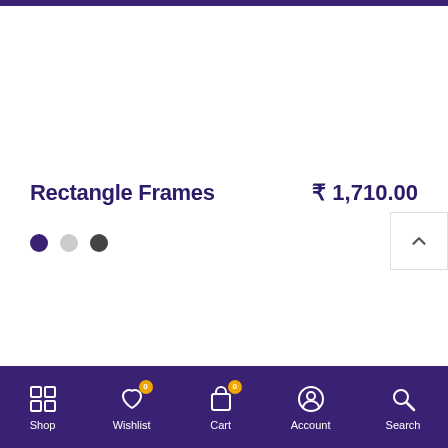Rectangle Frames
₹ 1,710.00
[Figure (screenshot): Three color selector dots: filled dark purple, light gray, dark gray]
Shop | Wishlist (0) | Cart (0) | Account | Search